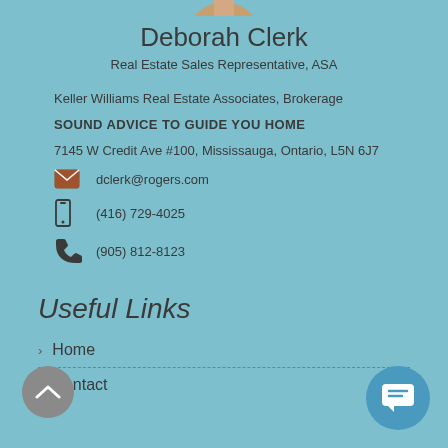[Figure (photo): Partial profile photo at top of page]
Deborah Clerk
Real Estate Sales Representative, ASA
Keller Williams Real Estate Associates, Brokerage
SOUND ADVICE TO GUIDE YOU HOME
7145 W Credit Ave #100, Mississauga, Ontario, L5N 6J7
dclerk@rogers.com
(416) 729-4025
(905) 812-8123
Useful Links
Home
Contact